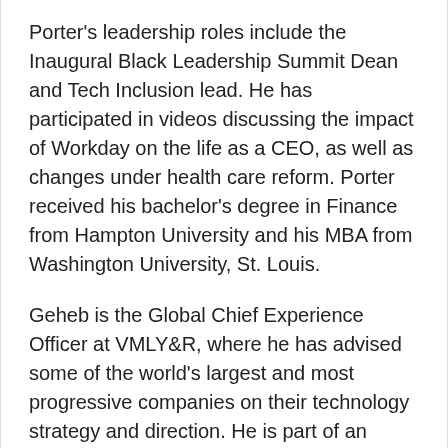Porter's leadership roles include the Inaugural Black Leadership Summit Dean and Tech Inclusion lead. He has participated in videos discussing the impact of Workday on the life as a CEO, as well as changes under health care reform. Porter received his bachelor's degree in Finance from Hampton University and his MBA from Washington University, St. Louis.
Geheb is the Global Chief Experience Officer at VMLY&R, where he has advised some of the world's largest and most progressive companies on their technology strategy and direction. He is part of an executive team that has driven 20 years of growth, including increasing from 100 employees in 2002 to more 7,000 employees in 100+ offices in 2019.
Geheb is the visionary behind VMLY&R's